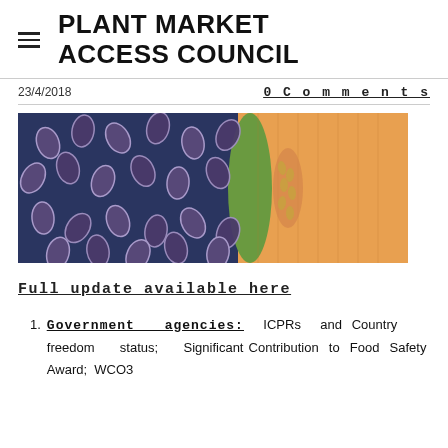PLANT MARKET ACCESS COUNCIL
23/4/2018
0 Comments
[Figure (photo): Microscopic image of bacteria (rod-shaped microorganisms on dark blue background) alongside a slice of cantaloupe melon showing orange flesh and green rind]
Full update available here
Government agencies: ICPRs and Country freedom status; Significant Contribution to Food Safety Award; WCO3